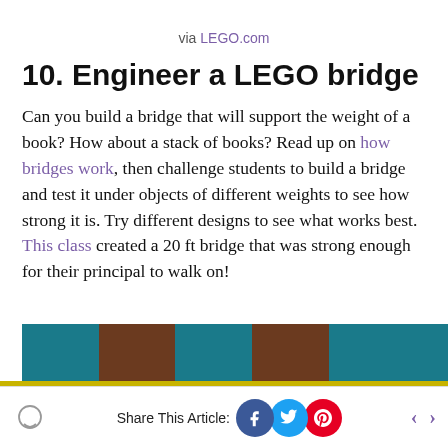via LEGO.com
10. Engineer a LEGO bridge
Can you build a bridge that will support the weight of a book? How about a stack of books? Read up on how bridges work, then challenge students to build a bridge and test it under objects of different weights to see how strong it is. Try different designs to see what works best. This class created a 20 ft bridge that was strong enough for their principal to walk on!
[Figure (photo): Partial view of a LEGO bridge or classroom scene with brown and teal colored panels]
Share This Article: [Facebook] [Twitter] [Pinterest]  < >